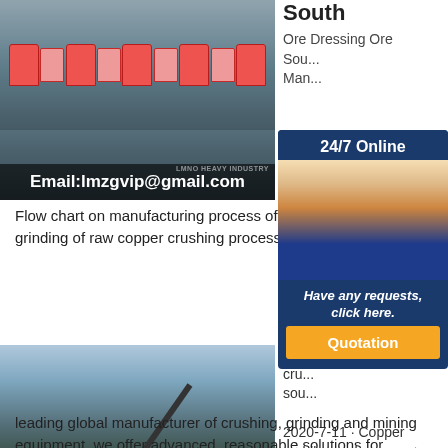[Figure (photo): Industrial machinery/crushers in a factory, with email overlay: Email:lmzgvip@gmail.com]
South
Ore Dressing Ore Sou... Man...
[Figure (photo): 24/7 online chat widget with customer service representative photo, 'Have any requests, click here.' and Quotation button]
Flow chart on manufacturing process of south afri... mining plant sale south africaalluvial cement crus... grinding of raw copper crushing process in south ... crusher provider in south africa coal crushing and...
[Figure (photo): Mobile crusher in outdoor/quarry setting with email overlay: Email:lmzgvip@gmail.com]
sma... cru... sou... 2020-7-11 · Copper mobile crusher exporter in south africa Products. As a
leading global manufacturer of crushing, grinding and mining equipment, we offer advanced, reasonable solutions for...